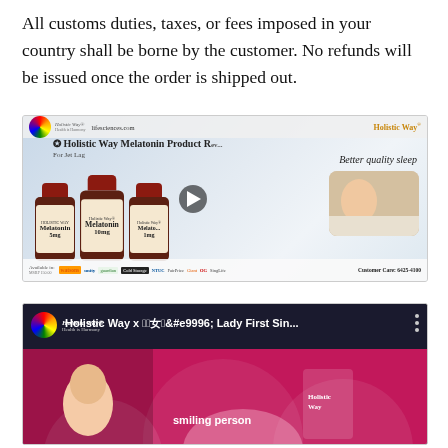All customs duties, taxes, or fees imposed in your country shall be borne by the customer. No refunds will be issued once the order is shipped out.
[Figure (screenshot): Video thumbnail for Holistic Way Melatonin Product Review for Jet Lag, showing three Melatonin supplement bottles (5mg, 10mg, and another variant), a woman sleeping, text 'Better quality sleep', Holistic Way logo, lifesciences.com URL, retailer logos and Customer Care: 6425-4100]
[Figure (screenshot): Video thumbnail for Holistic Way x Lady First Singapore collaboration video, showing a woman presenter on a pink studio set with Holistic Way products visible]